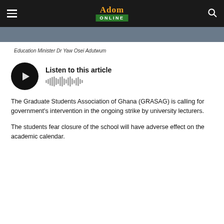Adom ONLINE
[Figure (photo): Photo of Education Minister Dr Yaw Osei Adutwum (partial, cropped at top)]
Education Minister Dr Yaw Osei Adutwum
[Figure (other): Audio player widget with play button and waveform, labelled 'Listen to this article']
The Graduate Students Association of Ghana (GRASAG) is calling for government's intervention in the ongoing strike by university lecturers.
The students fear closure of the school will have adverse effect on the academic calendar.